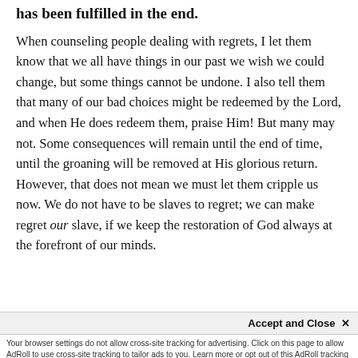has been fulfilled in the end.
When counseling people dealing with regrets, I let them know that we all have things in our past we wish we could change, but some things cannot be undone. I also tell them that many of our bad choices might be redeemed by the Lord, and when He does redeem them, praise Him! But many may not. Some consequences will remain until the end of time, until the groaning will be removed at His glorious return. However, that does not mean we must let them cripple us now. We do not have to be slaves to regret; we can make regret our slave, if we keep the restoration of God always at the forefront of our minds.
Accept and Close ✕
Your browser settings do not allow cross-site tracking for advertising. Click on this page to allow AdRoll to use cross-site tracking to tailor ads to you. Learn more or opt out of this AdRoll tracking by clicking here. This message only appears once.